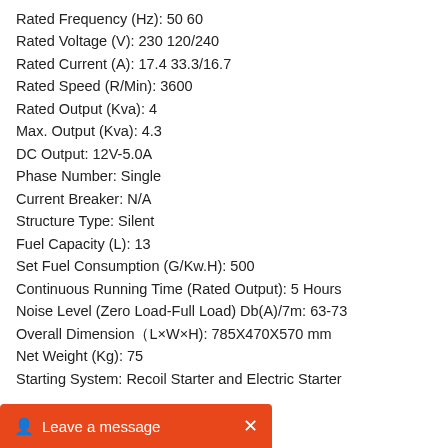Rated Frequency (Hz): 50 60
Rated Voltage (V): 230 120/240
Rated Current (A): 17.4 33.3/16.7
Rated Speed (R/Min): 3600
Rated Output (Kva): 4
Max. Output (Kva): 4.3
DC Output: 12V-5.0A
Phase Number: Single
Current Breaker: N/A
Structure Type: Silent
Fuel Capacity (L): 13
Set Fuel Consumption (G/Kw.H): 500
Continuous Running Time (Rated Output): 5 Hours
Noise Level (Zero Load-Full Load) Db(A)/7m: 63-73
Overall Dimension（L×W×H): 785X470X570 mm
Net Weight (Kg): 75
Starting System: Recoil Starter and Electric Starter
Leave a message